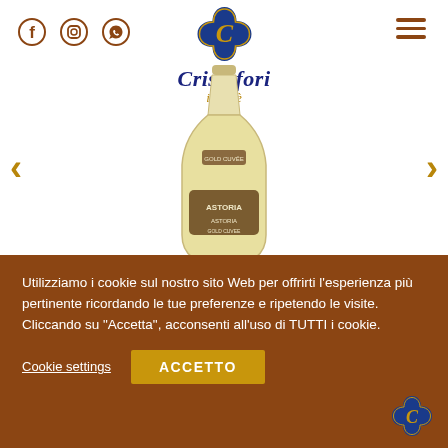[Figure (logo): Cristofori il caffè logo with blue arabesque emblem and brand name in blue and gold italic serif text]
[Figure (photo): A bottle of Astoria white wine/prosecco against white background, showing the rounded body and label]
Utilizziamo i cookie sul nostro sito Web per offrirti l'esperienza più pertinente ricordando le tue preferenze e ripetendo le visite. Cliccando su "Accetta", acconsenti all'uso di TUTTI i cookie.
Cookie settings
ACCETTO